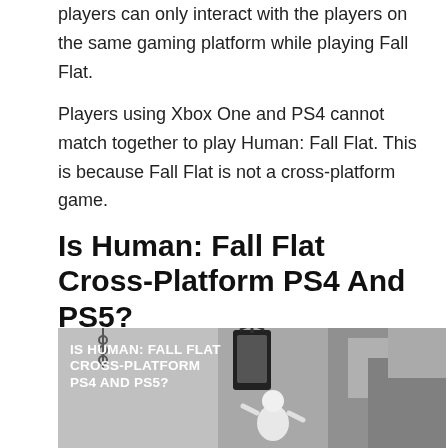players can only interact with the players on the same gaming platform while playing Fall Flat.
Players using Xbox One and PS4 cannot match together to play Human: Fall Flat. This is because Fall Flat is not a cross-platform game.
Is Human: Fall Flat Cross-Platform PS4 And PS5?
[Figure (photo): Game promotional image showing a white blob character in a 3D scene with a lantern, chains, and block structures. Overlaid white bold text reads: IS HUMAN: FALL FLAT CROSS-PLATFORM PS4 AND PS5?]